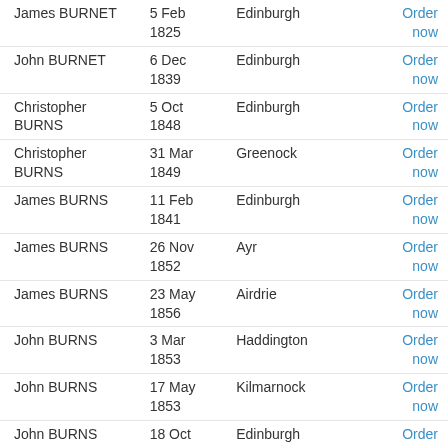| Name | Date | Place | Action |
| --- | --- | --- | --- |
| James BURNET | 5 Feb 1825 | Edinburgh | Order now |
| John BURNET | 6 Dec 1839 | Edinburgh | Order now |
| Christopher BURNS | 5 Oct 1848 | Edinburgh | Order now |
| Christopher BURNS | 31 Mar 1849 | Greenock | Order now |
| James BURNS | 11 Feb 1841 | Edinburgh | Order now |
| James BURNS | 26 Nov 1852 | Ayr | Order now |
| James BURNS | 23 May 1856 | Airdrie | Order now |
| John BURNS | 3 Mar 1853 | Haddington | Order now |
| John BURNS | 17 May 1853 | Kilmarnock | Order now |
| John BURNS | 18 Oct 1856 | Edinburgh | Order now |